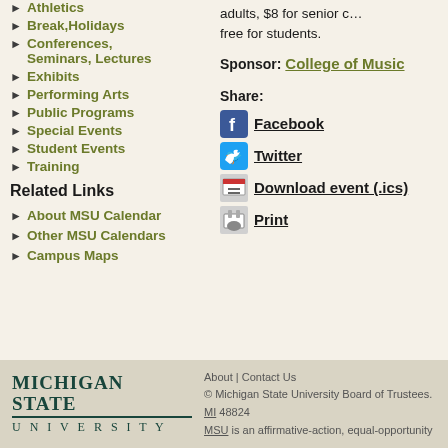Athletics
Break,Holidays
Conferences, Seminars, Lectures
Exhibits
Performing Arts
Public Programs
Special Events
Student Events
Training
Related Links
About MSU Calendar
Other MSU Calendars
Campus Maps
adults, $8 for senior c… free for students.
Sponsor: College of Music
Share:
Facebook
Twitter
Download event (.ics)
Print
About | Contact Us © Michigan State University Board of Trustees. MI 48824 MSU is an affirmative-action, equal-opportunity